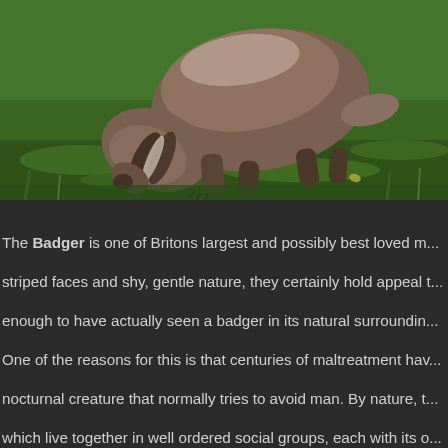[Figure (photo): A badger photographed from above/behind, foraging on short green grass. The badger has brownish-grey fur and is bent over grazing on the lawn.]
The Badger is one of Britons largest and possibly best loved m... striped faces and shy, gentle nature, they certainly hold appeal ... enough to have actually seen a badger in its natural surroundin... One of the reasons for this is that centuries of maltreatment hav... nocturnal creature that normally tries to avoid man. By nature, t... which live together in well ordered social groups, each with its o... setts, are an amazing labyrinth of tunnels and chambers, often c... Badgers have been present in Britain for thousands of years the... oave bear and elk. They have survived while animals s...